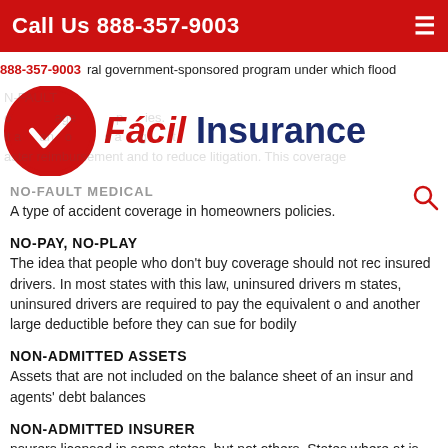Call Us 888-357-9003
888-357-9003  ...ral government-sponsored program under which flood...
[Figure (logo): Fácil Insurance logo: red circle with white checkmark, red italic 'Fácil' and dark blue 'Insurance' text]
NO-FAULT MEDICAL
A type of accident coverage in homeowners policies.
NO-PAY, NO-PLAY
The idea that people who don't buy coverage should not rec... insured drivers. In most states with this law, uninsured drivers m... states, uninsured drivers are required to pay the equivalent o... and another large deductible before they can sue for bodily...
NON-ADMITTED ASSETS
Assets that are not included on the balance sheet of an insur... and agents' debt balances
NON-ADMITTED INSURER
...nsurers licensed in some states, but not others. States where ... at is unavailable from licensed insurers within the state.
NOTICE OF LOSS
A written notice required by insurance companies immediat...